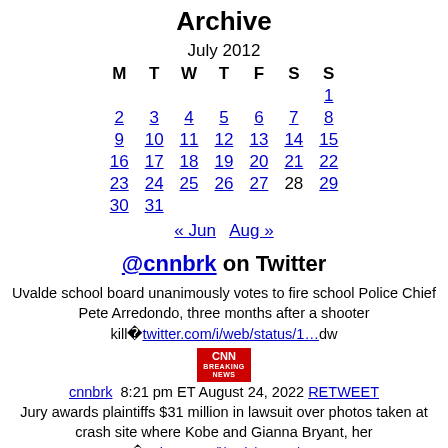Archive
| M | T | W | T | F | S | S |
| --- | --- | --- | --- | --- | --- | --- |
|  |  |  |  |  |  | 1 |
| 2 | 3 | 4 | 5 | 6 | 7 | 8 |
| 9 | 10 | 11 | 12 | 13 | 14 | 15 |
| 16 | 17 | 18 | 19 | 20 | 21 | 22 |
| 23 | 24 | 25 | 26 | 27 | 28 | 29 |
| 30 | 31 |  |  |  |  |  |
« Jun   Aug »
@cnnbrk on Twitter
Uvalde school board unanimously votes to fire school Police Chief Pete Arredondo, three months after a shooter kill�twitter.com/i/web/status/1…dw
cnnbrk  8:21 pm ET August 24, 2022 RETWEET
Jury awards plaintiffs $31 million in lawsuit over photos taken at crash site where Kobe and Gianna Bryant, her too�twitter.com/i/web/status/1…99